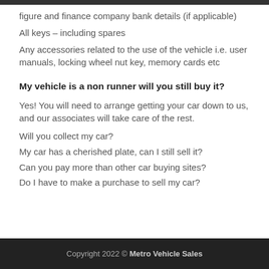figure and finance company bank details (if applicable)
All keys – including spares
Any accessories related to the use of the vehicle i.e. user manuals, locking wheel nut key, memory cards etc
My vehicle is a non runner will you still buy it?
Yes! You will need to arrange getting your car down to us, and our associates will take care of the rest.
Will you collect my car?
My car has a cherished plate, can I still sell it?
Can you pay more than other car buying sites?
Do I have to make a purchase to sell my car?
Copyright 2022 © Metro Vehicle Sales